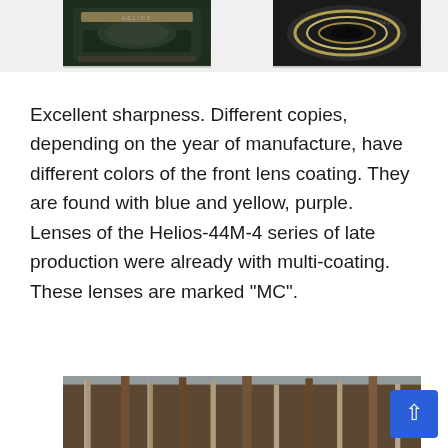[Figure (photo): Two camera lens photos side by side at the top of the page — left shows a lens front element with text markings on a dark body, right shows a lens with gold/chrome rings on dark body]
Excellent sharpness. Different copies, depending on the year of manufacture, have different colors of the front lens coating. They are found with blue and yellow, purple. Lenses of the Helios-44M-4 series of late production were already with multi-coating. These lenses are marked "MC".
[Figure (photo): Photograph of a forest with birch and pine trees, shot with bokeh/shallow depth of field, showing tree trunks and sky through branches]